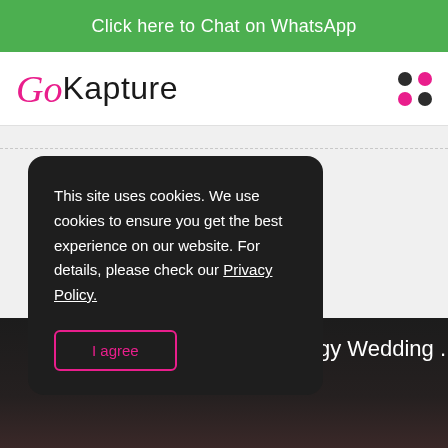Click here to Chat on WhatsApp
[Figure (logo): GoKapture logo with pink italic 'Go' and black 'Kapture' text, plus a grid of four dots (two dark, two pink) on the right]
This site uses cookies. We use cookies to ensure you get the best experience on our website. For details, please check our Privacy Policy.
I agree
[Figure (photo): Dark photo strip showing partial text 'oth! Jurgy Wedding .' with people celebrating in background]